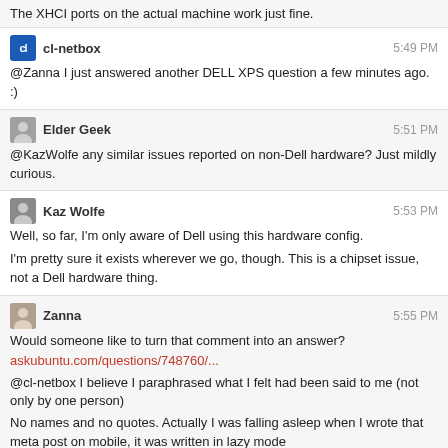The XHCI ports on the actual machine work just fine.
cl-netbox  5:49 PM
@Zanna I just answered another DELL XPS question a few minutes ago. :)
Elder Geek  5:51 PM
@KazWolfe any similar issues reported on non-Dell hardware? Just mildly curious.
Kaz Wolfe  5:53 PM
Well, so far, I'm only aware of Dell using this hardware config.
I'm pretty sure it exists wherever we go, though. This is a chipset issue, not a Dell hardware thing.
Zanna  5:55 PM
Would someone like to turn that comment into an answer?
askubuntu.com/questions/748760/...
@cl-netbox I believe I paraphrased what I felt had been said to me (not only by one person)
No names and no quotes. Actually I was falling asleep when I wrote that meta post on mobile, it was written in lazy mode
Elder Geek  5:58 PM
@KazWolfe Digging into the bug report it appears that the problem is related to the ASMedia controller support. Apparently works fine with the same technology on the Intel Sunrise Point-H USB controller
Kaz Wolfe  5:59 PM
yep, sounds right. my laptop uses that for wifi control, works fine.
00:14.0 USB controller: Intel Corporation Sunrise Point-H USB